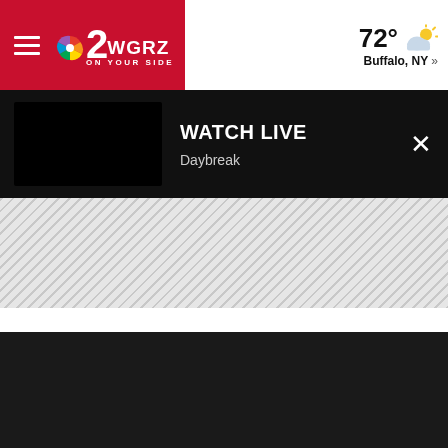2WGRZ NBC ON YOUR SIDE — 72° Buffalo, NY »
WATCH LIVE
Daybreak
[Figure (screenshot): Hatched/striped placeholder ad or loading area]
[Figure (screenshot): Dark background content area below the ad placeholder]